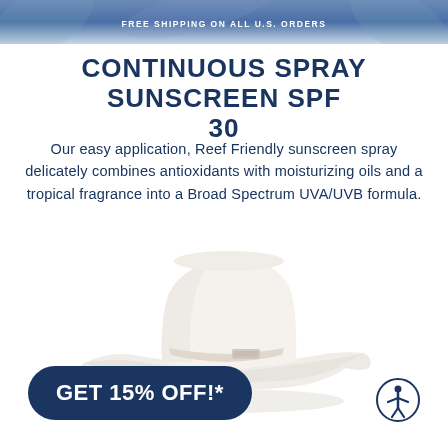FREE SHIPPING ON ALL U.S. ORDERS
CONTINUOUS SPRAY SUNSCREEN SPF 30
Our easy application, Reef Friendly sunscreen spray delicately combines antioxidants with moisturizing oils and a tropical fragrance into a Broad Spectrum UVA/UVB formula.
[Figure (illustration): A white/cream colored wide-brim cowboy/outdoor hat with a chin strap, shown from a slight angle]
GET 15% OFF!*
[Figure (logo): Accessibility icon — circle with a human figure silhouette with arms outstretched]